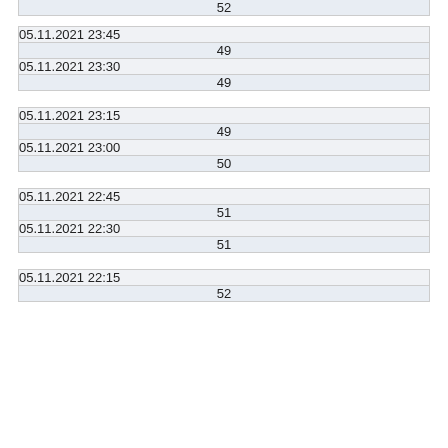| 52 |
| 05.11.2021 23:45 |
| --- |
| 49 |
| 05.11.2021 23:30 |
| --- |
| 49 |
| 05.11.2021 23:15 |
| --- |
| 49 |
| 05.11.2021 23:00 |
| --- |
| 50 |
| 05.11.2021 22:45 |
| --- |
| 51 |
| 05.11.2021 22:30 |
| --- |
| 51 |
| 05.11.2021 22:15 |
| --- |
| 52 |